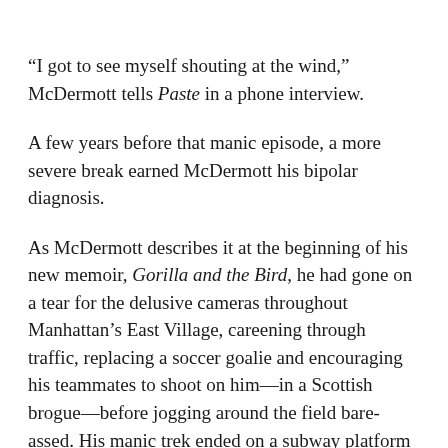“I got to see myself shouting at the wind,” McDermott tells Paste in a phone interview.
A few years before that manic episode, a more severe break earned McDermott his bipolar diagnosis.
As McDermott describes it at the beginning of his new memoir, Gorilla and the Bird, he had gone on a tear for the delusive cameras throughout Manhattan’s East Village, careening through traffic, replacing a soccer goalie and encouraging his teammates to shoot on him—in a Scottish brogue—before jogging around the field bare-assed. His manic trek ended on a subway platform—stripped down to his underwear, tears streaming down his face—from where two NYPD officers took him to Bellevue Hospital.
“I was really grateful for it, actually,” McDermott says about